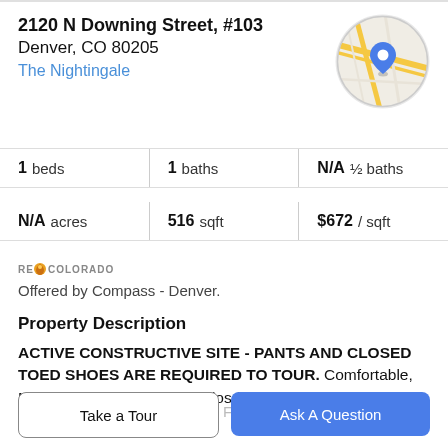2120 N Downing Street, #103
Denver, CO 80205
The Nightingale
[Figure (map): Circular map thumbnail showing street map with blue location pin marker]
| 1 beds | 1 baths | N/A ½ baths |
| N/A acres | 516 sqft | $672 / sqft |
[Figure (logo): REColorado logo with orange flame icon]
Offered by Compass - Denver.
Property Description
ACTIVE CONSTRUCTIVE SITE - PANTS AND CLOSED TOED SHOES ARE REQUIRED TO TOUR. Comfortable, Modern & Understated Condos for a Hassle-Free Life.
Peace of Mind is Right at Your Fingertips. Enjoy Oversized